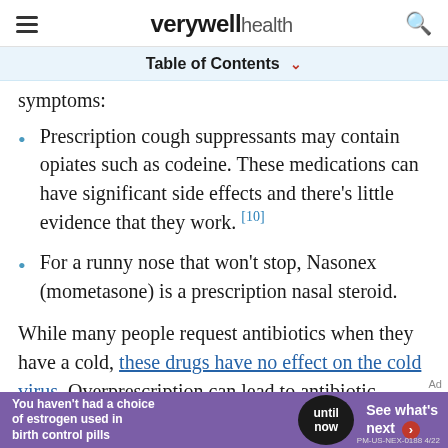verywell health
Table of Contents
symptoms:
Prescription cough suppressants may contain opiates such as codeine. These medications can have significant side effects and there's little evidence that they work. [10]
For a runny nose that won't stop, Nasonex (mometasone) is a prescription nasal steroid.
While many people request antibiotics when they have a cold, these drugs have no effect on the cold virus. Overprescription can lead to antibiotic-
[Figure (other): Advertisement banner: 'You haven't had a choice of estrogen used in birth control pills — until now — See what's next'. PM-US-NEX-0188 4/22]